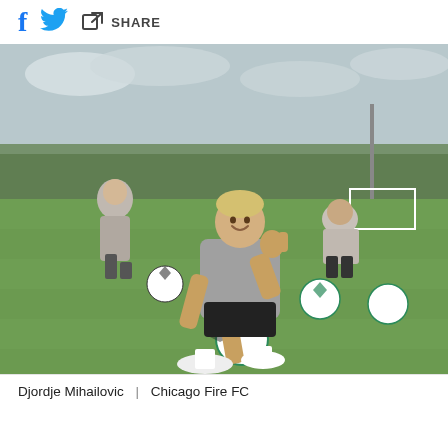f [twitter] SHARE
[Figure (photo): Djordje Mihailovic sitting on a soccer ball on a training pitch, giving a thumbs up, wearing a gray sleeveless shirt and black shorts with white Nike cleats. Other players are visible in the background on the field.]
Djordje Mihailovic  |  Chicago Fire FC